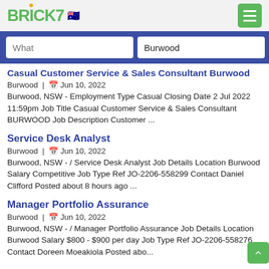BRICK7 [AU flag]
What | Burwood [search]
Casual Customer Service & Sales Consultant Burwood
Burwood | Jun 10, 2022
Burwood, NSW - Employment Type Casual Closing Date 2 Jul 2022 11:59pm Job Title Casual Customer Service & Sales Consultant BURWOOD Job Description Customer ...
Service Desk Analyst
Burwood | Jun 10, 2022
Burwood, NSW - / Service Desk Analyst Job Details Location Burwood Salary Competitive Job Type Ref JO-2206-558299 Contact Daniel Clifford Posted about 8 hours ago ...
Manager Portfolio Assurance
Burwood | Jun 10, 2022
Burwood, NSW - / Manager Portfolio Assurance Job Details Location Burwood Salary $800 - $900 per day Job Type Ref JO-2206-558276 Contact Doreen Moeakiola Posted abo...